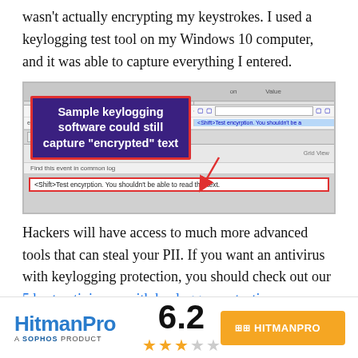wasn't actually encrypting my keystrokes. I used a keylogging test tool on my Windows 10 computer, and it was able to capture everything I entered.
[Figure (screenshot): Screenshot of a keylogger tool showing captured text. An overlay label reads 'Sample keylogging software could still capture "encrypted" text'. The bottom of the screenshot shows captured text: '<Shift>Test encyrption. You shouldn't be able to read this text.']
Hackers will have access to much more advanced tools that can steal your PII. If you want an antivirus with keylogging protection, you should check out our 5 best antiviruses with keylogger protection.
[Figure (logo): HitmanPro - A Sophos Product logo with score 6.2, 3 out of 5 stars, and an orange CTA button saying HITMANPRO]